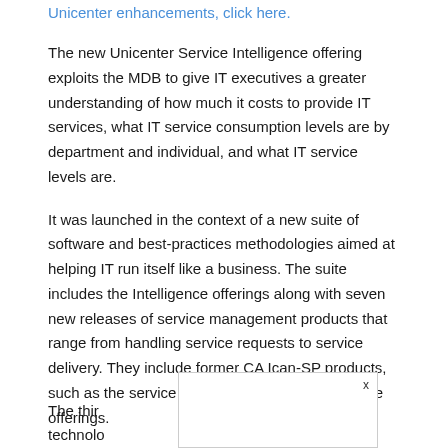Unicenter enhancements, click here.
The new Unicenter Service Intelligence offering exploits the MDB to give IT executives a greater understanding of how much it costs to provide IT services, what IT service consumption levels are by department and individual, and what IT service levels are.
It was launched in the context of a new suite of software and best-practices methodologies aimed at helping IT run itself like a business. The suite includes the Intelligence offerings along with seven new releases of service management products that range from handling service requests to service delivery. They include former CA Ican-SP products, such as the service catalog and service assurance offerings.
The third... ether technolo... ic, and